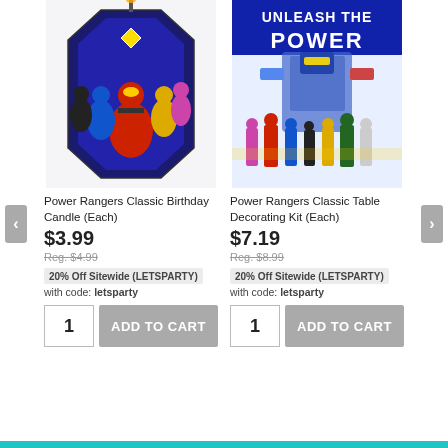[Figure (photo): Power Rangers Classic Birthday Candle product image showing Power Rangers characters on a candle shaped tag]
[Figure (photo): Power Rangers Classic Table Decorating Kit product image showing Power Rangers characters with 'Unleash The Power' text]
Power Rangers Classic Birthday Candle (Each)
$3.99
Reg. $4.99
20% Off Sitewide (LETSPARTY)
with code: letsparty
Power Rangers Classic Table Decorating Kit (Each)
$7.19
Reg. $8.99
20% Off Sitewide (LETSPARTY)
with code: letsparty